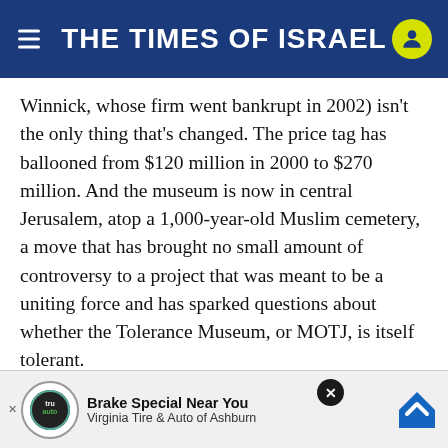THE TIMES OF ISRAEL
Winnick, whose firm went bankrupt in 2002) isn't the only thing that's changed. The price tag has ballooned from $120 million in 2000 to $270 million. And the museum is now in central Jerusalem, atop a 1,000-year-old Muslim cemetery, a move that has brought no small amount of controversy to a project that was meant to be a uniting force and has sparked questions about whether the Tolerance Museum, or MOTJ, is itself tolerant.
The museum's hulking white home is already an imposing presence, sitting adjacent to Independence Park and the Mamilla...the SWC s...
[Figure (screenshot): Advertisement banner: Brake Special Near You - Virginia Tire & Auto of Ashburn]